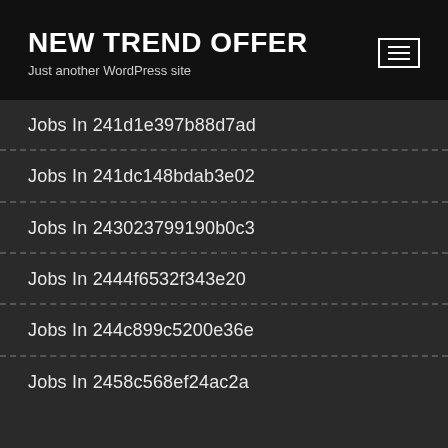NEW TREND OFFER
Just another WordPress site
Jobs In 241d1e397b88d7ad
Jobs In 241dc148bdab3e02
Jobs In 243023799190b0c3
Jobs In 2444f6532f343e20
Jobs In 244c899c5200e36e
Jobs In 2458c568ef24ac2a